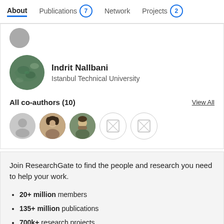About | Publications 7 | Network | Projects 2
[Figure (screenshot): Partially visible circular avatar at top of card]
Indrit Nallbani
Istanbul Technical University
All co-authors (10)
View All
[Figure (photo): Row of 5 co-author avatars (1 grey placeholder, 2 photos, 2 grey placeholder icons)]
Join ResearchGate to find the people and research you need to help your work.
20+ million members
135+ million publications
700k+ research projects
Join for free